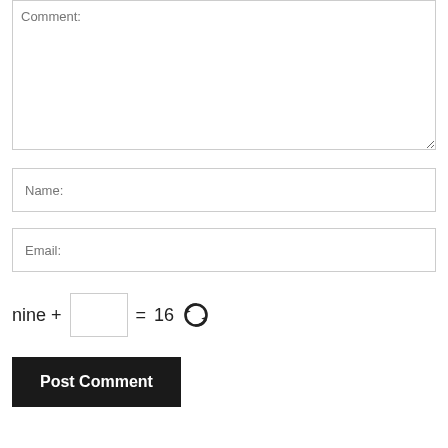Comment:
Name:
Email:
nine  +  [input]  =  16  [refresh]
Post Comment